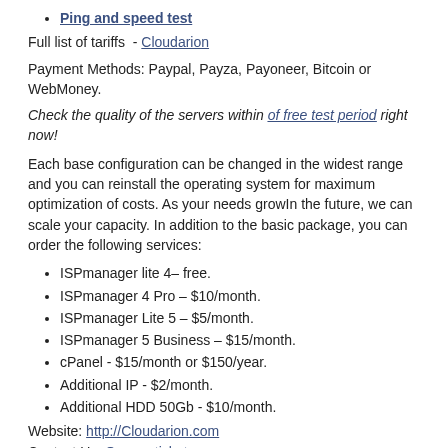Ping and speed test
Full list of tariffs  - Cloudarion
Payment Methods: Paypal, Payza, Payoneer, Bitcoin or WebMoney.
Check the quality of the servers within of free test period right now!
Each base configuration can be changed in the widest range and you can reinstall the operating system for maximum optimization of costs. As your needs growIn the future, we can scale your capacity. In addition to the basic package, you can order the following services:
ISPmanager lite 4– free.
ISPmanager 4 Pro – $10/month.
ISPmanager Lite 5 – $5/month.
ISPmanager 5 Business – $15/month.
cPanel - $15/month or $150/year.
Additional IP - $2/month.
Additional HDD 50Gb - $10/month.
Website: http://Cloudarion.com
Contact Us: Open a ticket